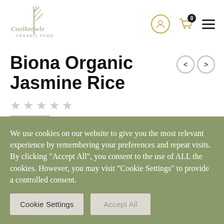[Figure (logo): Coolknowle Organic Food logo with stylized leaf/plant illustration and cursive text]
Biona Organic Jasmine Rice
★★★★★ (star rating, all grey)
We use cookies on our website to give you the most relevant experience by remembering your preferences and repeat visits. By clicking "Accept All", you consent to the use of ALL the cookies. However, you may visit "Cookie Settings" to provide a controlled consent.
Cookie Settings | Accept All